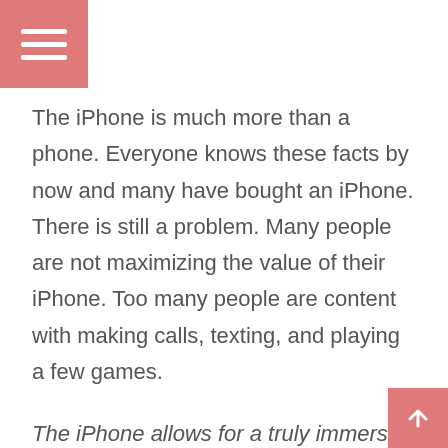[Figure (other): Pink hamburger menu button in top-left corner with three white horizontal bars]
The iPhone is much more than a phone. Everyone knows these facts by now and many have bought an iPhone. There is still a problem. Many people are not maximizing the value of their iPhone. Too many people are content with making calls, texting, and playing a few games.
[Figure (other): Pink scroll-to-top button in bottom-right corner with white upward arrow]
The iPhone allows for a truly immersive experience, if the user digs a little deeper into what it can do.
Where most of the benefits appear for the iPhone